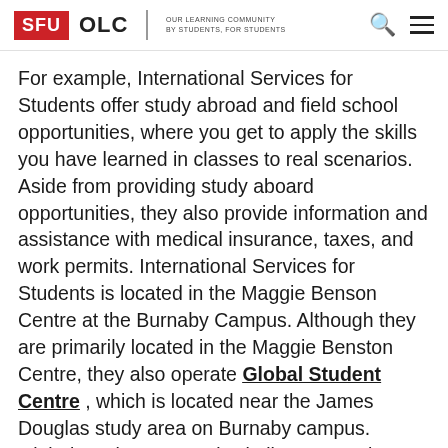SFU OLC | OUR LEARNING COMMUNITY BY STUDENTS, FOR STUDENTS
For example, International Services for Students offer study abroad and field school opportunities, where you get to apply the skills you have learned in classes to real scenarios. Aside from providing study aboard opportunities, they also provide information and assistance with medical insurance, taxes, and work permits. International Services for Students is located in the Maggie Benson Centre at the Burnaby Campus. Although they are primarily located in the Maggie Benston Centre, they also operate Global Student Centre , which is located near the James Douglas study area on Burnaby campus. Global Student Centre is similar to a student lounge where they provide study areas, a microwave, and a bookable conference room.